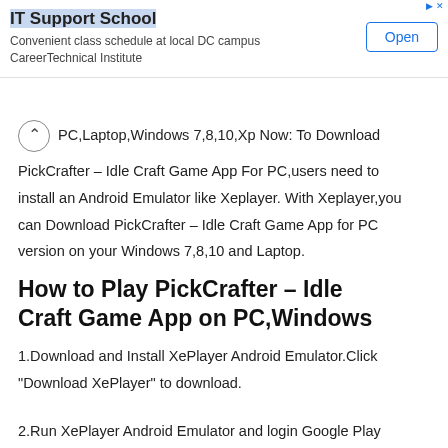[Figure (screenshot): Advertisement banner: IT Support School - Convenient class schedule at local DC campus CareerTechnical Institute, with Open button]
PC,Laptop,Windows 7,8,10,Xp Now: To Download PickCrafter – Idle Craft Game App For PC,users need to install an Android Emulator like Xeplayer. With Xeplayer,you can Download PickCrafter – Idle Craft Game App for PC version on your Windows 7,8,10 and Laptop.
How to Play PickCrafter – Idle Craft Game App on PC,Windows
1.Download and Install XePlayer Android Emulator.Click "Download XePlayer" to download.
2.Run XePlayer Android Emulator and login Google Play Store.